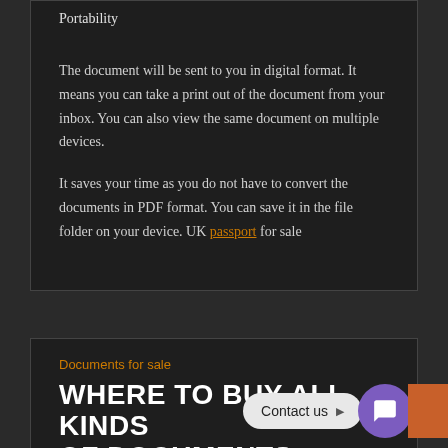Portability
The document will be sent to you in digital format. It means you can take a print out of the document from your inbox. You can also view the same document on multiple devices.
It saves your time as you do not have to convert the documents in PDF format. You can save it in the file folder on your device. UK passport for sale
Documents for sale
WHERE TO BUY ALL KINDS OF DOCUMENTS ONLINE NEEDED TO MIGRATE TO A